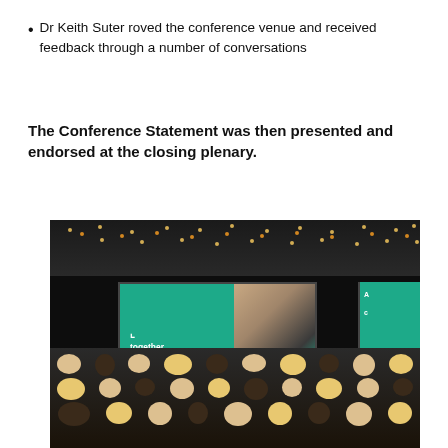Dr Keith Suter roved the conference venue and received feedback through a number of conversations
The Conference Statement was then presented and endorsed at the closing plenary.
[Figure (photo): Conference plenary session photo showing a large auditorium with audience seated, a speaker at a podium, large screens displaying 'together making change' branding in teal/green, banner stands, and ceiling lighting.]